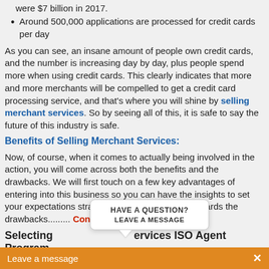were $7 billion in 2017.
Around 500,000 applications are processed for credit cards per day
As you can see, an insane amount of people own credit cards, and the number is increasing day by day, plus people spend more when using credit cards. This clearly indicates that more and more merchants will be compelled to get a credit card processing service, and that's where you will shine by selling merchant services. So by seeing all of this, it is safe to say the future of this industry is safe.
Benefits of Selling Merchant Services:
Now, of course, when it comes to actually being involved in the action, you will come across both the benefits and the drawbacks. We will first touch on a few key advantages of entering into this business so you can have the insights to set your expectations straight. Then, we will move towards the drawbacks......... Continue Reading
Selecting ervices ISO Agent Program
Are you planning to become a merchant service provider? When it comes to are thousands of merchant
[Figure (screenshot): Popup tooltip box with 'HAVE A QUESTION? LEAVE A MESSAGE' text, with a speech bubble tail pointing down, overlaying the page content]
[Figure (screenshot): Orange bar at the bottom of the screen with 'Leave a message' text and an X close button]